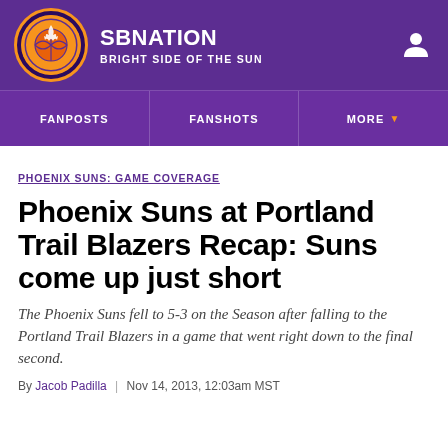SBNATION | BRIGHT SIDE OF THE SUN
FANPOSTS | FANSHOTS | MORE
PHOENIX SUNS: GAME COVERAGE
Phoenix Suns at Portland Trail Blazers Recap: Suns come up just short
The Phoenix Suns fell to 5-3 on the Season after falling to the Portland Trail Blazers in a game that went right down to the final second.
By Jacob Padilla | Nov 14, 2013, 12:03am MST